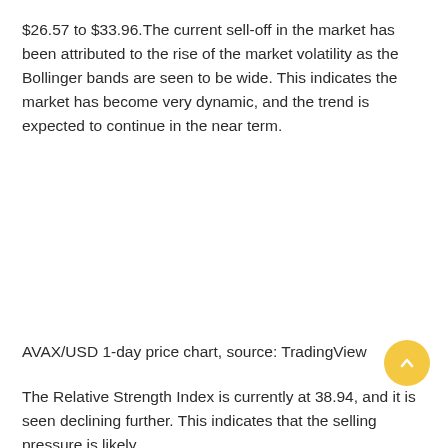$26.57 to $33.96.The current sell-off in the market has been attributed to the rise of the market volatility as the Bollinger bands are seen to be wide. This indicates the market has become very dynamic, and the trend is expected to continue in the near term.
AVAX/USD 1-day price chart, source: TradingView
The Relative Strength Index is currently at 38.94, and it is seen declining further. This indicates that the selling pressure is likely